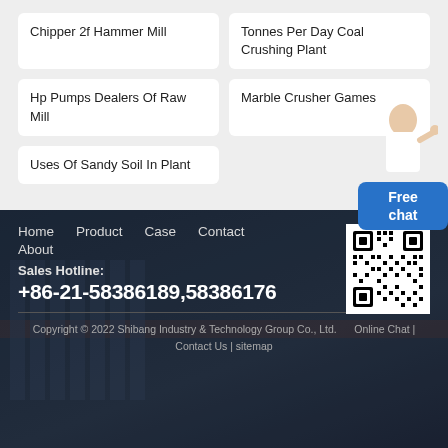Chipper 2f Hammer Mill
Tonnes Per Day Coal Crushing Plant
Hp Pumps Dealers Of Raw Mill
Marble Crusher Games
Uses Of Sandy Soil In Plant
[Figure (other): Free chat widget with female assistant figure]
Home   Product   Case   Contact   About
[Figure (other): QR code for mobile contact]
Sales Hotline:
+86-21-58386189,58386176
Copyright © 2022 Shibang Industry & Technology Group Co., Ltd.   Online Chat | Contact Us | sitemap